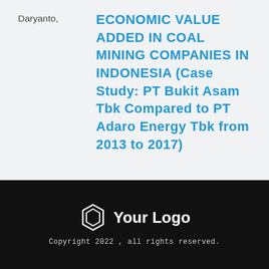Daryanto,
ECONOMIC VALUE ADDED IN COAL MINING COMPANIES IN INDONESIA (Case Study: PT Bukit Asam Tbk Compared to PT Adaro Energy Tbk from 2013 to 2017)
[Figure (logo): Hexagon-shaped logo icon with text 'Your Logo']
Copyright 2022 , all rights reserved.